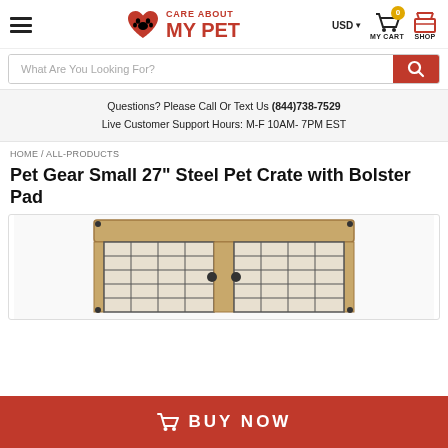Care About My Pet — USD MY CART SHOP
What Are You Looking For?
Questions? Please Call Or Text Us (844)738-7529
Live Customer Support Hours: M-F 10AM- 7PM EST
HOME / ALL-PRODUCTS
Pet Gear Small 27" Steel Pet Crate with Bolster Pad
[Figure (photo): Photo of a pet crate — wooden top panel, wire mesh door panels, black hardware]
BUY NOW